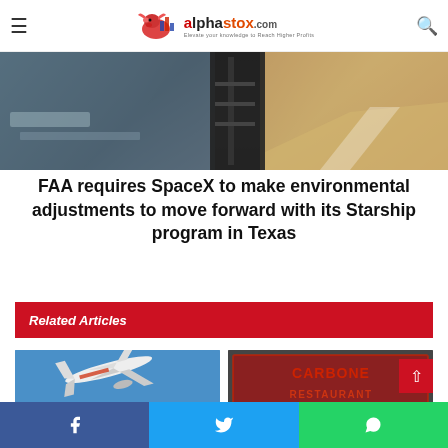alphastox.com — Elevate your knowledge to Reach Higher Profits
[Figure (photo): Aerial/industrial landscape image of what appears to be a launch site or industrial facility in Texas, split into three panels showing terrain, a dark launch tower structure, and a roadway at sunset.]
FAA requires SpaceX to make environmental adjustments to move forward with its Starship program in Texas
Related Articles
[Figure (photo): Photo of a Delta Airlines airplane flying against a blue sky, viewed from below.]
[Figure (photo): Photo of the Carbone Restaurant sign with neon lettering and a storefront display.]
Share on Facebook | Share on Twitter | Share on WhatsApp